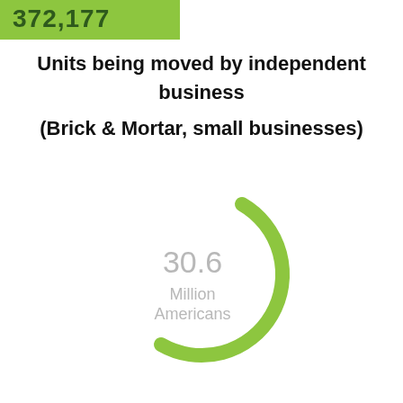[Figure (other): Green banner at top showing partial number '372,177']
Units being moved by independent business (Brick & Mortar, small businesses)
[Figure (donut-chart): Partial arc donut chart in green representing 30.6 Million Americans]